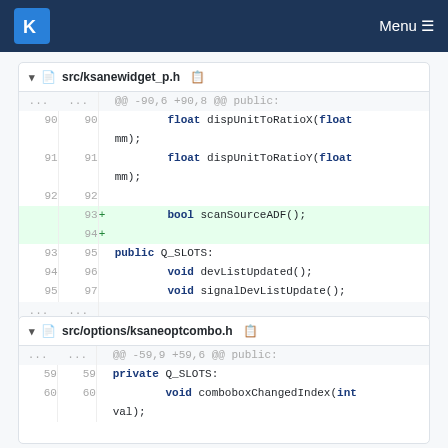KDE Menu
src/ksanewidget_p.h
| old | new | + | code |
| --- | --- | --- | --- |
| ... | ... |  | @@ -90,6 +90,8 @@ public: |
| 90 | 90 |  |     float dispUnitToRatioX(float mm); |
| 91 | 91 |  |     float dispUnitToRatioY(float mm); |
| 92 | 92 |  |  |
|  | 93 | + |     bool scanSourceADF(); |
|  | 94 | + |  |
| 93 | 95 |  | public Q_SLOTS: |
| 94 | 96 |  |     void devListUpdated(); |
| 95 | 97 |  |     void signalDevListUpdate(); |
| ... | ... |  |  |
src/options/ksaneoptcombo.h
| old | new | + | code |
| --- | --- | --- | --- |
| ... | ... |  | @@ -59,9 +59,6 @@ public: |
| 59 | 59 |  | private Q_SLOTS: |
| 60 | 60 |  |     void comboboxChangedIndex(int val); |